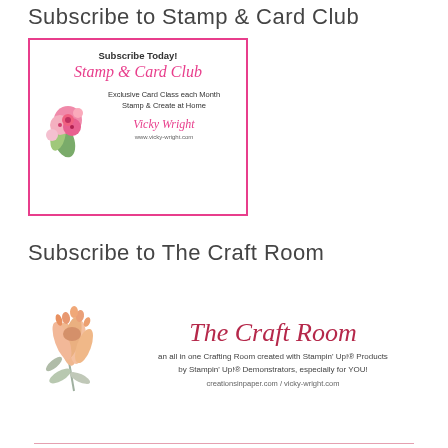Subscribe to Stamp & Card Club
[Figure (illustration): Advertisement box with pink border for Stamp & Card Club by Vicky Wright. Contains floral illustration, script text 'Stamp & Card Club', and text 'Subscribe Today! Exclusive Card Class each Month Stamp & Create at Home Vicky Wright www.vicky-wright.com']
Subscribe to The Craft Room
[Figure (illustration): The Craft Room banner with a protea flower illustration on the left, script title 'The Craft Room' in dark red/crimson, text 'an all in one Crafting Room created with Stampin' Up!® Products by Stampin' Up!® Demonstrators, especially for YOU!' and URL 'creationsinpaper.com / vicky-wright.com', with a pink horizontal line at the bottom.]